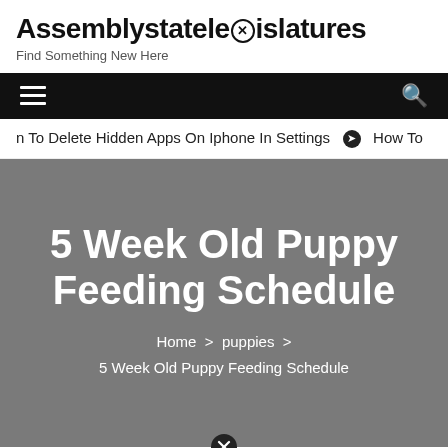Assemblystatelegislatures — Find Something New Here
n To Delete Hidden Apps On Iphone In Settings  ❯  How To
5 Week Old Puppy Feeding Schedule
Home > puppies > 5 Week Old Puppy Feeding Schedule